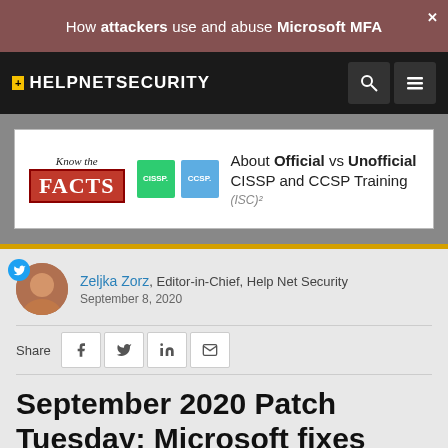How attackers use and abuse Microsoft MFA
[Figure (logo): Help Net Security logo with yellow plus sign]
[Figure (infographic): Advertisement banner: Know the FACTS about Official vs Unofficial CISSP and CCSP Training, with CISSP and CCSP badge icons and (ISC)2 logo]
Zeljka Zorz, Editor-in-Chief, Help Net Security
September 8, 2020
Share
September 2020 Patch Tuesday: Microsoft fixes over 110 CVEs again